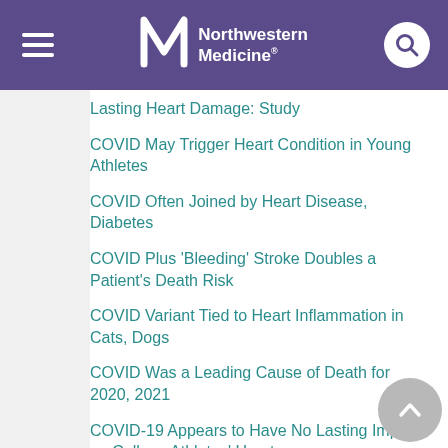Northwestern Medicine
Lasting Heart Damage: Study
COVID May Trigger Heart Condition in Young Athletes
COVID Often Joined by Heart Disease, Diabetes
COVID Plus 'Bleeding' Stroke Doubles a Patient's Death Risk
COVID Variant Tied to Heart Inflammation in Cats, Dogs
COVID Was a Leading Cause of Death for 2020, 2021
COVID-19 Appears to Have No Lasting Impact on College Athletes' Hearts
COVID-19 Can Start With Neurological Symptoms